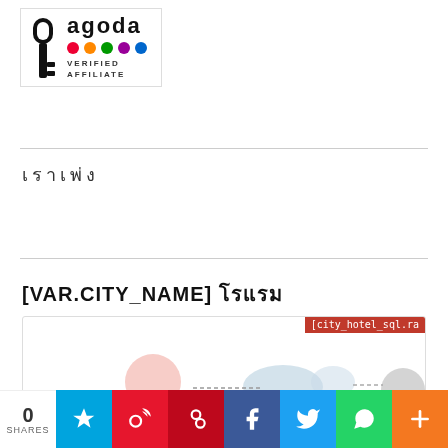[Figure (logo): Agoda Verified Affiliate logo with key icon, agoda wordmark, five colored dots, and VERIFIED AFFILIATE text]
□□□□□□□
[Figure (screenshot): Dropdown selector UI element with a down arrow]
[VAR.CITY_NAME] □□□□
[Figure (screenshot): Card area with red city_hotel_sql.ra label and bubble graph illustration at bottom]
0 SHARES
[Figure (infographic): Social share bar with Hatena, Weibo, Pinterest, Facebook, Twitter, WhatsApp, and More buttons]